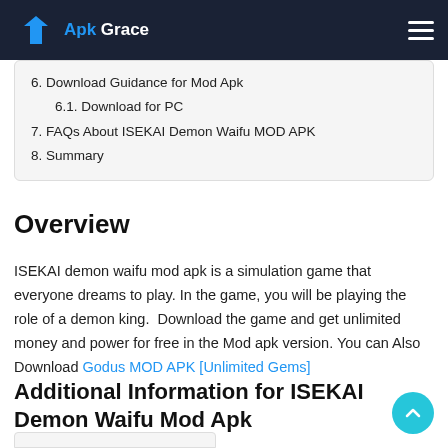Apk Grace
6. Download Guidance for Mod Apk
6.1. Download for PC
7. FAQs About ISEKAI Demon Waifu MOD APK
8. Summary
Overview
ISEKAI demon waifu mod apk is a simulation game that everyone dreams to play. In the game, you will be playing the role of a demon king.  Download the game and get unlimited money and power for free in the Mod apk version. You can Also Download Godus MOD APK [Unlimited Gems]
Additional Information for ISEKAI Demon Waifu Mod Apk